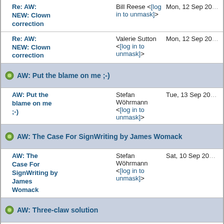Re: AW: NEW: Clown correction — Bill Reese <[log in to unmask]> — Mon, 12 Sep 20…
Re: AW: NEW: Clown correction — Valerie Sutton <[log in to unmask]> — Mon, 12 Sep 20…
AW: Put the blame on me ;-)
AW: Put the blame on me ;-) — Stefan Wöhrmann <[log in to unmask]> — Tue, 13 Sep 20…
AW: The Case For SignWriting by James Womack
AW: The Case For SignWriting by James Womack — Stefan Wöhrmann <[log in to unmask]> — Sat, 10 Sep 20…
AW: Three-claw solution
AW: Three-claw solution — Stefan Wöhrmann <[log in to unmask]> — Wed, 14 Sep 20…
Re: AW: Three-claw solution — Charles Butler <[log in to unmask]> — Wed, 14 Sep 20…
Bent - 5 hand